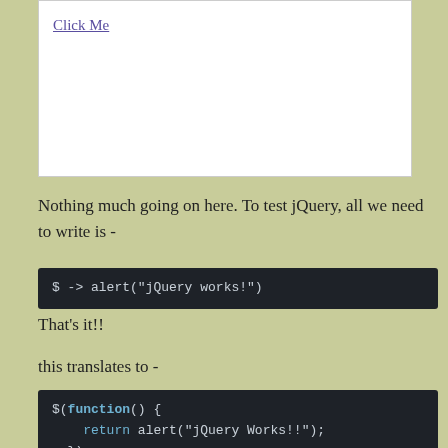[Figure (screenshot): White box with 'Click Me' hyperlink in purple/blue color]
Nothing much going on here. To test jQuery, all we need to write is -
$ -> alert("jQuery works!")
That's it!!
this translates to -
$(function() {
    return alert("jQuery Works!!");
  });
So, in CoffeeScript, initalizing jQuery amounts to -